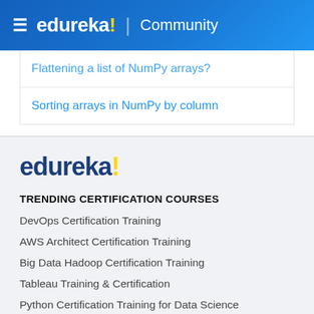≡ edureka! | Community
Flattening a list of NumPy arrays?
Sorting arrays in NumPy by column
edureka!
TRENDING CERTIFICATION COURSES
DevOps Certification Training
AWS Architect Certification Training
Big Data Hadoop Certification Training
Tableau Training & Certification
Python Certification Training for Data Science